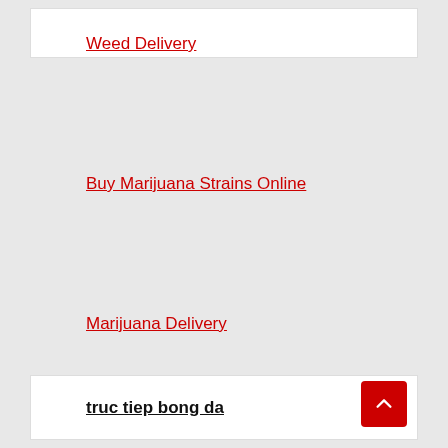Weed Delivery
Buy Marijuana Strains Online
Marijuana Delivery
truc tiep bong da
Pragmatic Play